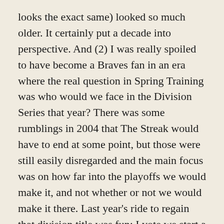looks the exact same) looked so much older. It certainly put a decade into perspective. And (2) I was really spoiled to have become a Braves fan in an era where the real question in Spring Training was who would we face in the Division Series that year? There was some rumblings in 2004 that The Streak would have to end at some point, but those were still easily disregarded and the main focus was on how far into the playoffs we would make it, and not whether or not we would make it there. Last year's ride to regain that division title was fun; I vote we start a new streak.
Natspo(s) (and Red Sox and Marlins) delenda est.